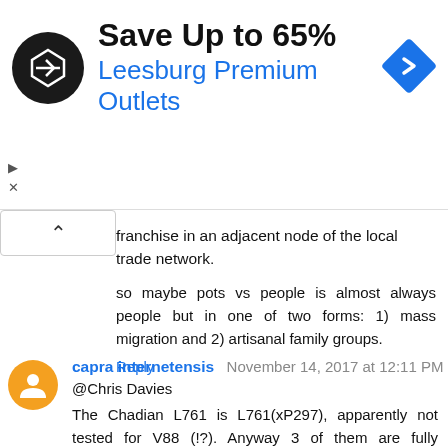[Figure (other): Advertisement banner for Leesburg Premium Outlets showing logo, text 'Save Up to 65% Leesburg Premium Outlets', and navigation arrow icon]
franchise in an adjacent node of the local trade network.
so maybe pots vs people is almost always people but in one of two forms: 1) mass migration and 2) artisanal family groups.
Reply
capra internetensis November 14, 2017 at 12:11 PM
@Chris Davies
The Chadian L761 is L761(xP297), apparently not tested for V88 (!?). Anyway 3 of them are fully sequenced and all those are V88.
Lot of people on Wikipedia don't understand the concept of a paragroup, genetics articles are full of newbie errors.